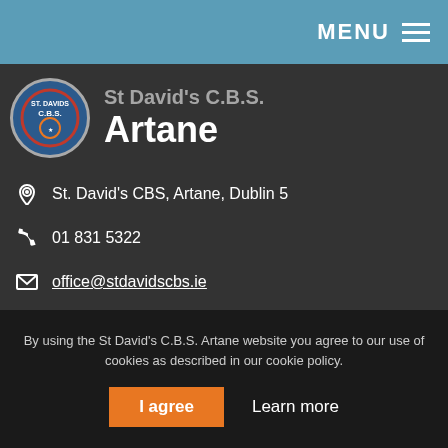MENU
St David's C.B.S. Artane
St. David's CBS, Artane, Dublin 5
01 831 5322
office@stdavidscbs.ie
Terms and Privacy
ENQUIRE
Name
By using the St David's C.B.S. Artane website you agree to our use of cookies as described in our cookie policy.
I agree
Learn more